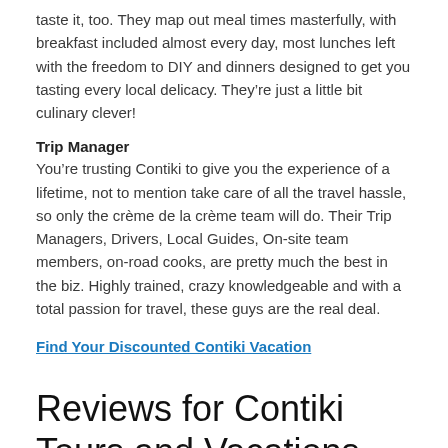taste it, too. They map out meal times masterfully, with breakfast included almost every day, most lunches left with the freedom to DIY and dinners designed to get you tasting every local delicacy. They’re just a little bit culinary clever!
Trip Manager
You’re trusting Contiki to give you the experience of a lifetime, not to mention take care of all the travel hassle, so only the crème de la crème team will do. Their Trip Managers, Drivers, Local Guides, On-site team members, on-road cooks, are pretty much the best in the biz. Highly trained, crazy knowledgeable and with a total passion for travel, these guys are the real deal.
Find Your Discounted Contiki Vacation
Reviews for Contiki Tours and Vacations